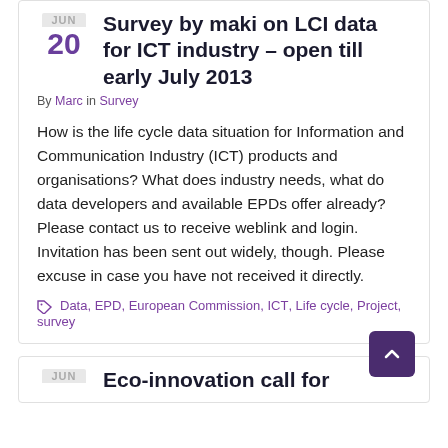Survey by maki on LCI data for ICT industry – open till early July 2013
By Marc in Survey
How is the life cycle data situation for Information and Communication Industry (ICT) products and organisations? What does industry needs, what do data developers and available EPDs offer already? Please contact us to receive weblink and login. Invitation has been sent out widely, though. Please excuse in case you have not received it directly.
Data, EPD, European Commission, ICT, Life cycle, Project, survey
Eco-innovation call for